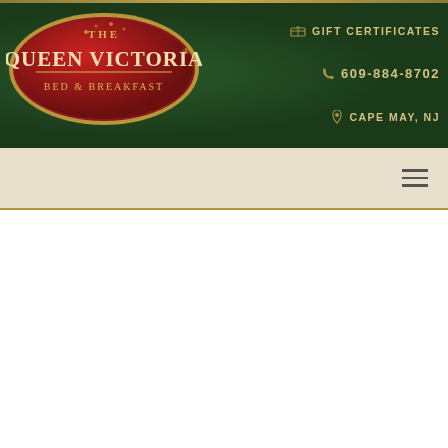[Figure (logo): The Queen Victoria Bed & Breakfast oval logo with red and gold colors on dark green background]
GIFT CERTIFICATES
609-884-8702
CAPE MAY, NJ
BREWERIES
| Activities